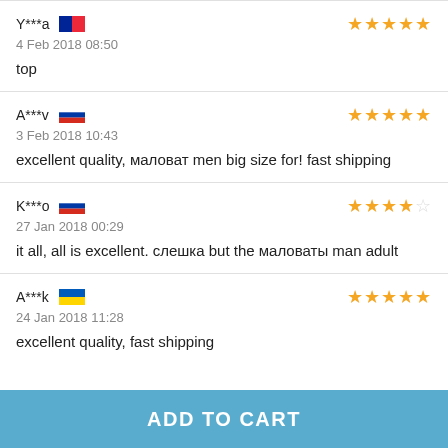Y***a [France flag] 4 Feb 2018 08:50 top — 5 stars
A***v [Russia flag] 3 Feb 2018 10:43 excellent quality, маловат men big size for! fast shipping — 5 stars
K***o [Russia flag] 27 Jan 2018 00:29 it all, all is excellent. слешка but the маловаты man adult — 4 stars
A***k [Ukraine flag] 24 Jan 2018 11:28 excellent quality, fast shipping — 5 stars
ADD TO CART